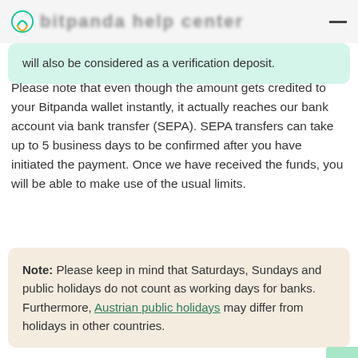Bitpanda – [blurred title]
will also be considered as a verification deposit.
Please note that even though the amount gets credited to your Bitpanda wallet instantly, it actually reaches our bank account via bank transfer (SEPA). SEPA transfers can take up to 5 business days to be confirmed after you have initiated the payment. Once we have received the funds, you will be able to make use of the usual limits.
Note: Please keep in mind that Saturdays, Sundays and public holidays do not count as working days for banks. Furthermore, Austrian public holidays may differ from holidays in other countries.